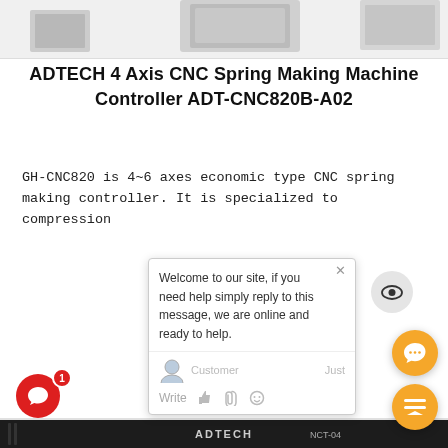[Figure (photo): Partial top view of ADTECH CNC spring making machine controller hardware]
ADTECH 4 Axis CNC Spring Making Machine Controller ADT-CNC820B-A02
GH-CNC820 is 4~6 axes economic type CNC spring making controller. It is specialized to compression
[Figure (screenshot): Chat popup overlay saying: Welcome to our site, if you need help simply reply to this message, we are online and ready to help. With close X button and eye icon circle. Below: Customer / Just labels and Write / emoji icons. Red chat button bottom left with badge 1.]
[Figure (photo): ADTECH NCT-04 CNC controller front panel with LCD screen showing +0000.000 coordinate readings and keypad buttons. Orange chat and eject buttons on bottom right.]